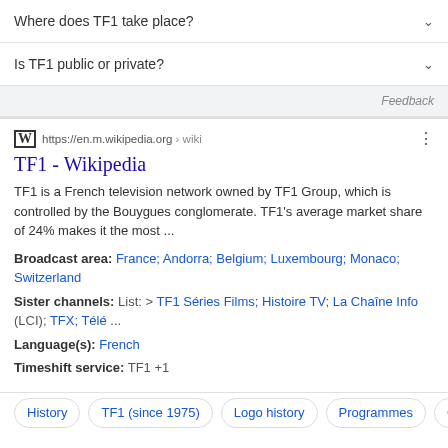Where does TF1 take place?
Is TF1 public or private?
Feedback
https://en.m.wikipedia.org › wiki
TF1 - Wikipedia
TF1 is a French television network owned by TF1 Group, which is controlled by the Bouygues conglomerate. TF1's average market share of 24% makes it the most ...
Broadcast area: France; Andorra; Belgium; Luxembourg; Monaco; Switzerland
Sister channels: List: > TF1 Séries Films; Histoire TV; La Chaîne Info (LCI); TFX; Télé ...
Language(s): French
Timeshift service: TF1 +1
History | TF1 (since 1975) | Logo history | Programmes | Ge